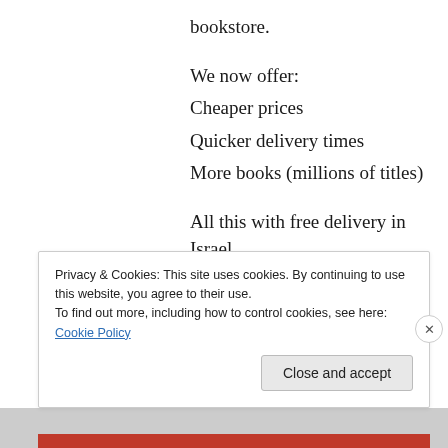bookstore.
We now offer:
Cheaper prices
Quicker delivery times
More books (millions of titles)
All this with free delivery in Israel
↪ Reply
Privacy & Cookies: This site uses cookies. By continuing to use this website, you agree to their use.
To find out more, including how to control cookies, see here: Cookie Policy